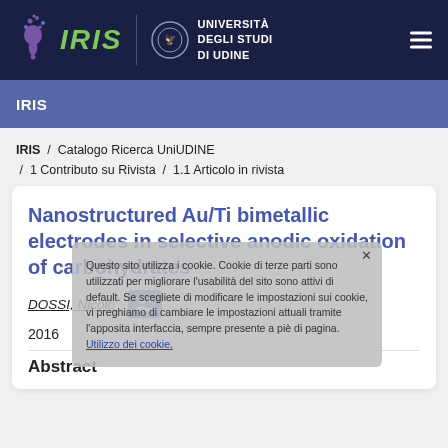[Figure (logo): IRIS logo with tree/brain icon and Università degli Studi di Udine seal in dark navy navigation bar]
IRIS
IRIS / Catalogo Ricerca UniUDINE / 1 Contributo su Rivista / 1.1 Articolo in rivista
Nanostructured Au/Ti bimetallic electrodes in selective anodic oxidation of carbohydrates
DOSSI, Nicolo'
2016
Abstract
Questo sito utilizza i cookie. Cookie di terze parti sono utilizzati per migliorare l'usabilità del sito sono attivi di default. Se scegliete di modificare le impostazioni sui cookie, vi preghiamo di cambiare le impostazioni attuali tramite l'apposita interfaccia, sempre presente a piè di pagina. Utilizzo dei cookie.